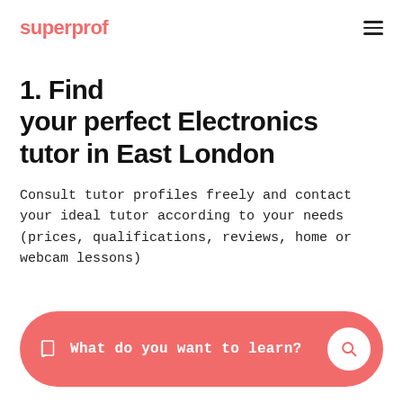superprof
1. Find your perfect Electronics tutor in East London
Consult tutor profiles freely and contact your ideal tutor according to your needs (prices, qualifications, reviews, home or webcam lessons)
What do you want to learn?